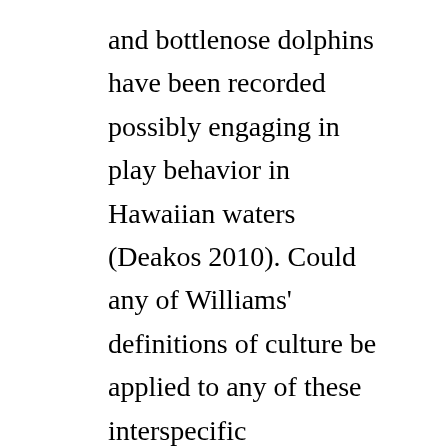and bottlenose dolphins have been recorded possibly engaging in play behavior in Hawaiian waters (Deakos 2010). Could any of Williams' definitions of culture be applied to any of these interspecific interactions?
Cetaceans are mammals that live in complex social groups, much like humans. This makes humans able to identify and empathize with them far more easily than they do with species that they view as more alien. When, for example, a hippopotamus is observed allowing fish to clean its mouth and face, we do not immediately call this an interspecies culture because we are not willing to extend